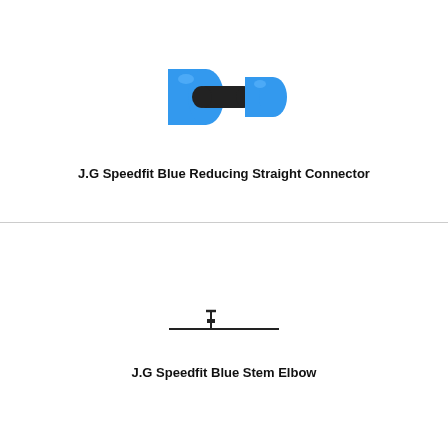[Figure (illustration): Blue reducing straight connector fitting — two blue cylindrical ends connected by a black rubber center section, viewed from the side at slight angle]
J.G Speedfit Blue Reducing Straight Connector
[Figure (engineering-diagram): Technical side-view line drawing of a stem elbow fitting — horizontal line with a small upward stem/tab near the center-left, simple 2D profile sketch]
J.G Speedfit Blue Stem Elbow